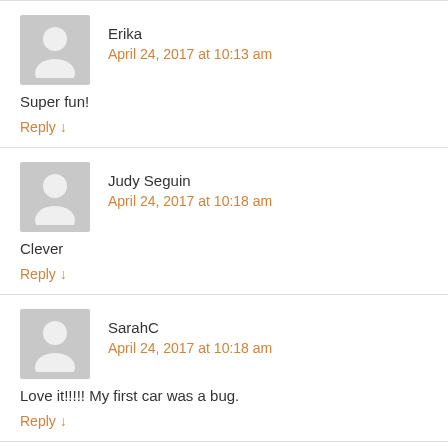Erika
April 24, 2017 at 10:13 am
Super fun!
Reply ↓
Judy Seguin
April 24, 2017 at 10:18 am
Clever
Reply ↓
SarahC
April 24, 2017 at 10:18 am
Love it!!!!! My first car was a bug.
Reply ↓
Angelina Q...